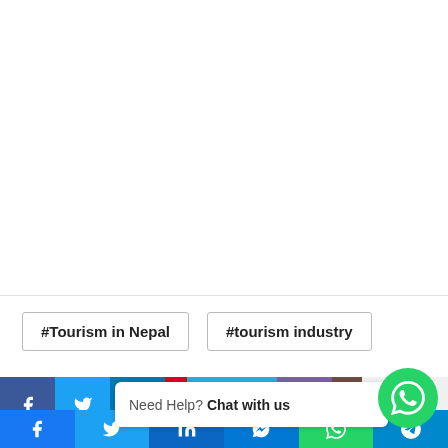#Tourism in Nepal
#tourism industry
[Figure (screenshot): Social media share bar with Facebook, Twitter, LinkedIn icons and a WhatsApp chat bubble saying 'Need Help? Chat with us']
Social share bottom bar with Facebook, Twitter, LinkedIn, Messenger, WhatsApp, Telegram icons